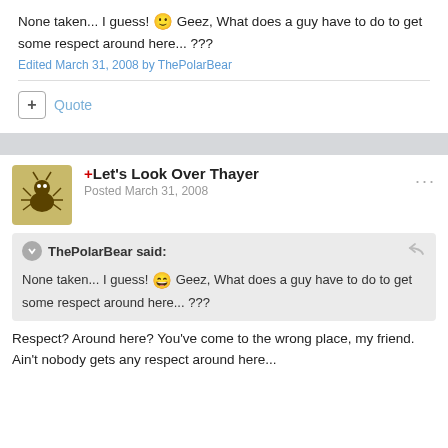None taken... I guess! 😊 Geez, What does a guy have to do to get some respect around here... ???
Edited March 31, 2008 by ThePolarBear
+ Quote
+Let's Look Over Thayer
Posted March 31, 2008
ThePolarBear said:
None taken... I guess! 😄 Geez, What does a guy have to do to get some respect around here... ???
Respect? Around here? You've come to the wrong place, my friend. Ain't nobody gets any respect around here...